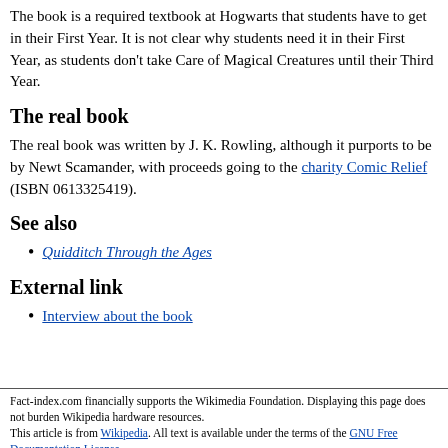The book is a required textbook at Hogwarts that students have to get in their First Year. It is not clear why students need it in their First Year, as students don't take Care of Magical Creatures until their Third Year.
The real book
The real book was written by J. K. Rowling, although it purports to be by Newt Scamander, with proceeds going to the charity Comic Relief (ISBN 0613325419).
See also
Quidditch Through the Ages
External link
Interview about the book
Fact-index.com financially supports the Wikimedia Foundation. Displaying this page does not burden Wikipedia hardware resources. This article is from Wikipedia. All text is available under the terms of the GNU Free Documentation License.